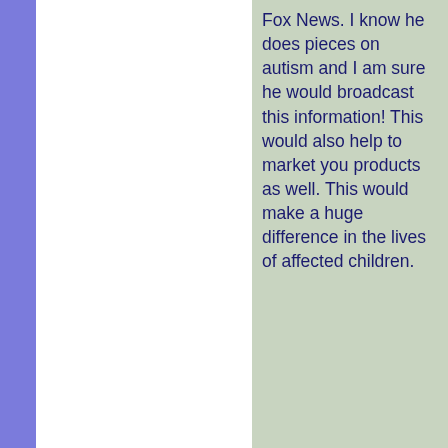Fox News. I know he does pieces on autism and I am sure he would broadcast this information! This would also help to market you products as well. This would make a huge difference in the lives of affected children.